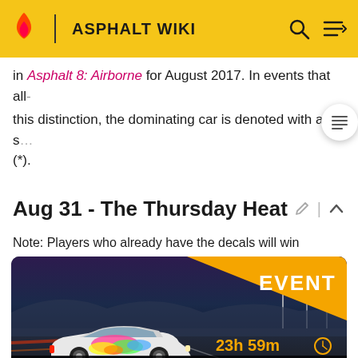ASPHALT WIKI
in Asphalt 8: Airborne for August 2017. In events that all- this distinction, the dominating car is denoted with a s (*).
Aug 31 - The Thursday Heat
Note: Players who already have the decals will win
[Figure (screenshot): Event card for 'The Thursday Heat' showing a colorfully decorated white sports car on a nighttime road. Orange 'EVENT' badge top right. Timer shows '23h 59m'. Bottom bar shows 'THE THURSDAY HEAT' and '2' with a flame icon.]
VIEW